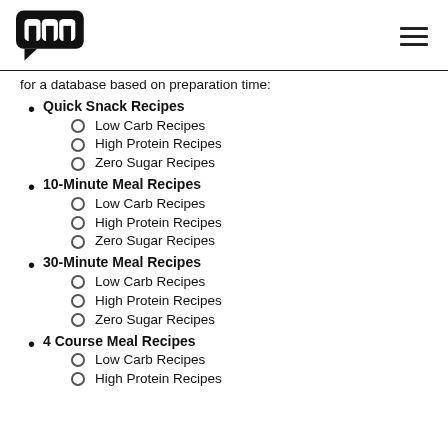[Logo] [Hamburger menu]
for a database based on preparation time:
Quick Snack Recipes
Low Carb Recipes
High Protein Recipes
Zero Sugar Recipes
10-Minute Meal Recipes
Low Carb Recipes
High Protein Recipes
Zero Sugar Recipes
30-Minute Meal Recipes
Low Carb Recipes
High Protein Recipes
Zero Sugar Recipes
4 Course Meal Recipes
Low Carb Recipes
High Protein Recipes